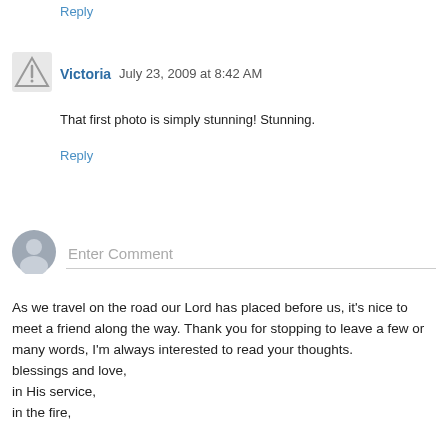Reply
Victoria  July 23, 2009 at 8:42 AM
That first photo is simply stunning! Stunning.
Reply
[Figure (illustration): Generic user avatar with warning triangle icon]
[Figure (illustration): Generic user silhouette avatar for comment input]
Enter Comment
As we travel on the road our Lord has placed before us, it's nice to meet a friend along the way. Thank you for stopping to leave a few or many words, I'm always interested to read your thoughts.
blessings and love,
in His service,
in the fire,